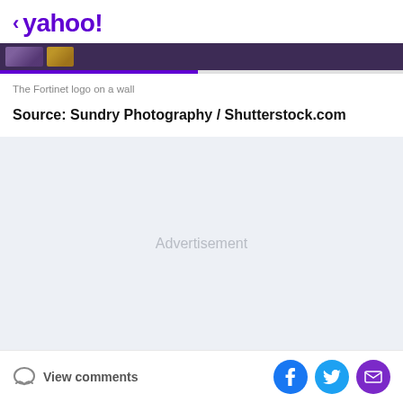< yahoo!
[Figure (photo): Partial image strip showing Fortinet logo on a wall, partially cropped with progress bar below]
The Fortinet logo on a wall
Source: Sundry Photography / Shutterstock.com
[Figure (other): Advertisement placeholder area with light gray background]
View comments
[Figure (other): Social share icons: Facebook, Twitter, and email/mail buttons]